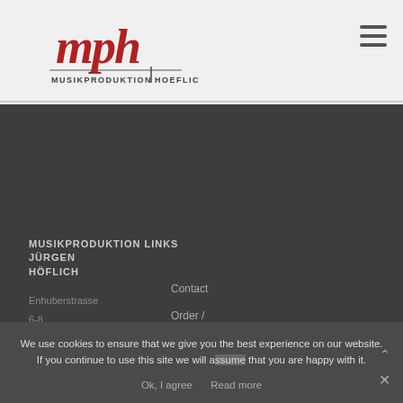[Figure (logo): MPH Musikproduktion Hoeflich logo with red cursive 'mph' lettering and black text 'MUSIKPRODUKTION HOEFLICH']
mph MUSIKPRODUKTION HOEFLICH
MUSIKPRODUKTION LINKS
JÜRGEN
HÖFLICH
Enhuberstrasse 6-8
DE 80333
Munchen
Contact
Order / Payment / Shipment
Terms and
We use cookies to ensure that we give you the best experience on our website. If you continue to use this site we will assume that you are happy with it.
Ok, I agree   Read more